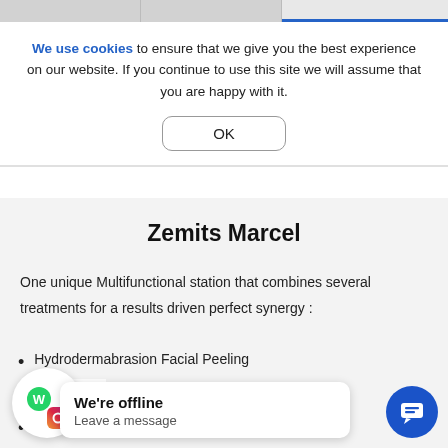We use cookies to ensure that we give you the best experience on our website. If you continue to use this site we will assume that you are happy with it.
OK
Zemits Marcel
One unique Multifunctional station that combines several treatments for a results driven perfect synergy :
Hydrodermabrasion Facial Peeling
en Skin Rej
ofrequency
Cold Therapy Skin Toning/Stimulation
We're offline
Leave a message